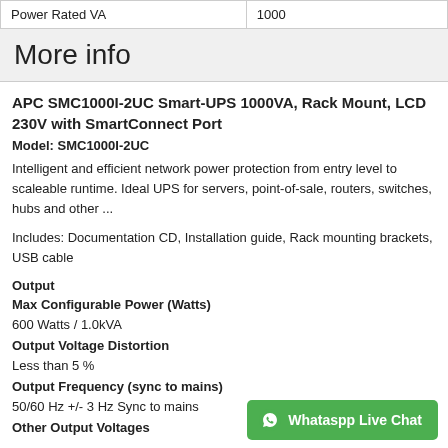| Power Rated VA | 1000 |
| --- | --- |
More info
APC SMC1000I-2UC Smart-UPS 1000VA, Rack Mount, LCD 230V with SmartConnect Port
Model: SMC1000I-2UC
Intelligent and efficient network power protection from entry level to scaleable runtime. Ideal UPS for servers, point-of-sale, routers, switches, hubs and other ...
Includes: Documentation CD, Installation guide, Rack mounting brackets, USB cable
Output
Max Configurable Power (Watts)
600 Watts / 1.0kVA
Output Voltage Distortion
Less than 5 %
Output Frequency (sync to mains)
50/60 Hz +/- 3 Hz Sync to mains
Other Output Voltages